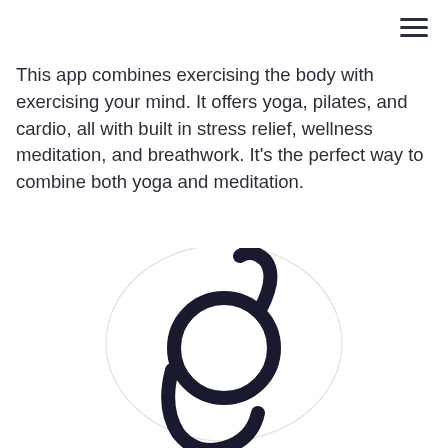≡
This app combines exercising the body with exercising your mind. It offers yoga, pilates, and cardio, all with built in stress relief, wellness meditation, and breathwork. It’s the perfect way to combine both yoga and meditation.
[Figure (logo): A stylized letter g logo mark in dark color, centered on the page with a faint circular background halo]